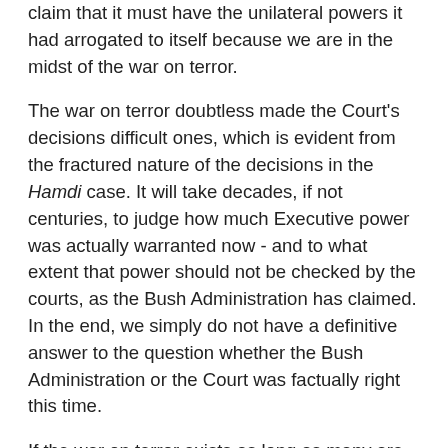claim that it must have the unilateral powers it had arrogated to itself because we are in the midst of the war on terror.
The war on terror doubtless made the Court's decisions difficult ones, which is evident from the fractured nature of the decisions in the Hamdi case. It will take decades, if not centuries, to judge how much Executive power was actually warranted now - and to what extent that power should not be checked by the courts, as the Bush Administration has claimed. In the end, we simply do not have a definitive answer to the question whether the Bush Administration or the Court was factually right this time.
If the war on terror exists as long as many are now predicting, Hamdi and Rasul are only initial rulings in a particular context. If there is another tragedy within our borders that is comparable to 9/11, doubtless these decisions will be revisited.